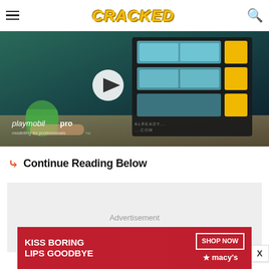CRACKED
[Figure (screenshot): Playmobil Pro video thumbnail showing a tool storage system with blue trays and yellow buttons, with a play button overlay. Playmobil pro branding in bottom left.]
Continue Reading Below
[Figure (other): Advertisement placeholder box with gray background]
[Figure (other): Bottom banner advertisement: KISS BORING LIPS GOODBYE - Macy's SHOP NOW banner in red]